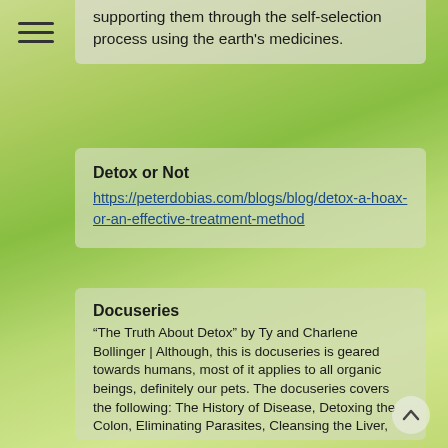supporting them through the self-selection process using the earth's medicines.
Detox or Not
https://peterdobias.com/blogs/blog/detox-a-hoax-or-an-effective-treatment-method
Docuseries
“The Truth About Detox” by Ty and Charlene Bollinger | Although, this is docuseries is geared towards humans, most of it applies to all organic beings, definitely our pets. The docuseries covers the following: The History of Disease, Detoxing the Colon, Eliminating Parasites, Cleansing the Liver, Kidneys, Skin & Detoxing with Defensive Eating, Detoxing the Lungs and the Lymphatic System & Protecting from Hidden Hazards.